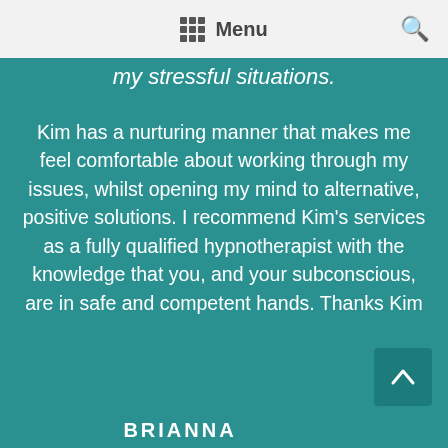Menu
my stressful situations.
Kim has a nurturing manner that makes me feel comfortable about working through my issues, whilst opening my mind to alternative, positive solutions. I recommend Kim's services as a fully qualified hypnotherapist with the knowledge that you, and your subconscious, are in safe and competent hands. Thanks Kim
BRIANNA